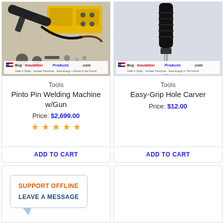[Figure (photo): Pinto Pin Welding Machine with gun and accessories, BuyInsulationProducts.com branded image]
Tools
Pinto Pin Welding Machine w/Gun
Price: $2,699.00
[Figure (other): Five gold star rating]
ADD TO CART
[Figure (photo): Easy-Grip Hole Carver tool, BuyInsulationProducts.com branded image]
Tools
Easy-Grip Hole Carver
Price: $12.00
ADD TO CART
[Figure (other): Support chat widget showing SUPPORT OFFLINE and LEAVE A MESSAGE in a speech bubble]
[Figure (other): Empty product card placeholder]